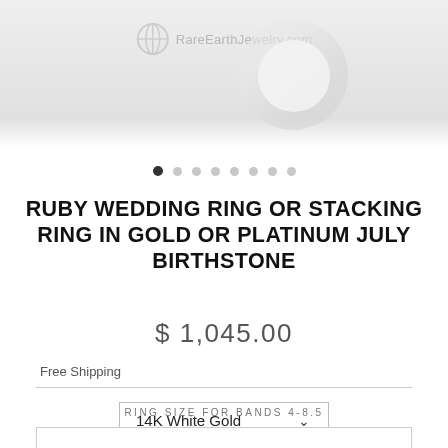[Figure (photo): Partial view of a ruby ring (wedding/stacking ring) shown from above with a watermark reading RareEarthJewelry.com. Image carousel with 8 navigation dots below.]
RUBY WEDDING RING OR STACKING RING IN GOLD OR PLATINUM JULY BIRTHSTONE
$ 1,045.00
Free Shipping
14K White Gold ∨
RING SIZE FOR BANDS 4-8.5